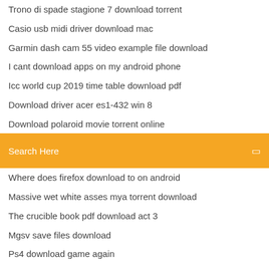Trono di spade stagione 7 download torrent
Casio usb midi driver download mac
Garmin dash cam 55 video example file download
I cant download apps on my android phone
Icc world cup 2019 time table download pdf
Download driver acer es1-432 win 8
Download polaroid movie torrent online
[Figure (screenshot): Orange search bar with placeholder text 'Search Here' and a small icon on the right]
Where does firefox download to on android
Massive wet white asses mya torrent download
The crucible book pdf download act 3
Mgsv save files download
Ps4 download game again
Download new maps for battlefield one pc
Torrent download rosehaven s02e08
Isolated system numbers station studio download internet archive
Download android apk play store